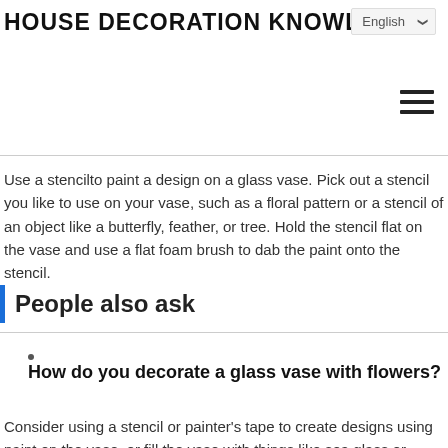English
HOUSE DECORATION KNOWLEDGE
Use a stencilto paint a design on a glass vase. Pick out a stencil you like to use on your vase, such as a floral pattern or a stencil of an object like a butterfly, feather, or tree. Hold the stencil flat on the vase and use a flat foam brush to dab the paint onto the stencil.
People also ask
How do you decorate a glass vase with flowers?
Consider using a stencil or painter’s tape to create designs using paint on the vase, or fill the vase with things like sea glass or flowers for a quick decoration idea.